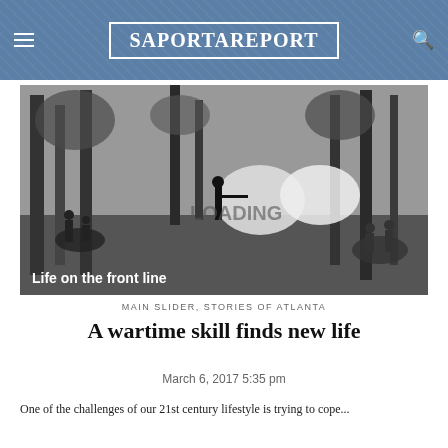SaportaReport
[Figure (photo): Black-and-white historical Civil War battle scene illustration with soldiers fighting in a forest. Text overlay reads 'Life on the front line'.]
MAIN SLIDER, STORIES OF ATLANTA
A wartime skill finds new life
March 6, 2017 5:35 pm
One of the challenges of our 21st century lifestyle is trying to cope...